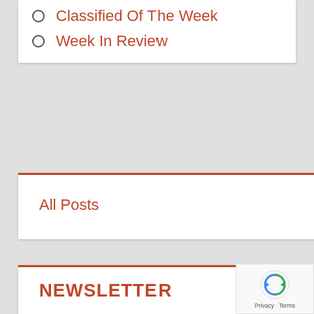Classified Of The Week
Week In Review
All Posts
NEWSLETTER
Email address:
Your email address
Sign up